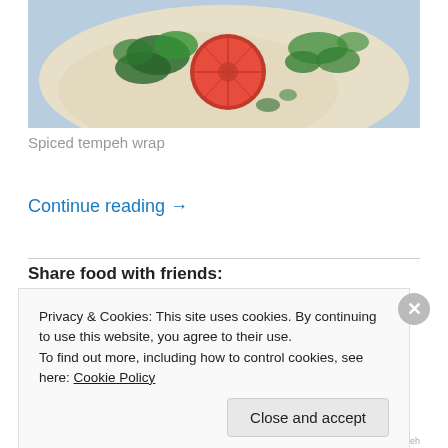[Figure (photo): Top-down photo of a flour tortilla wrap with a halved tomato, green spinach leaves, and cilantro arranged on top]
Spiced tempeh wrap
Continue reading →
Share food with friends:
Privacy & Cookies: This site uses cookies. By continuing to use this website, you agree to their use.
To find out more, including how to control cookies, see here: Cookie Policy
Close and accept